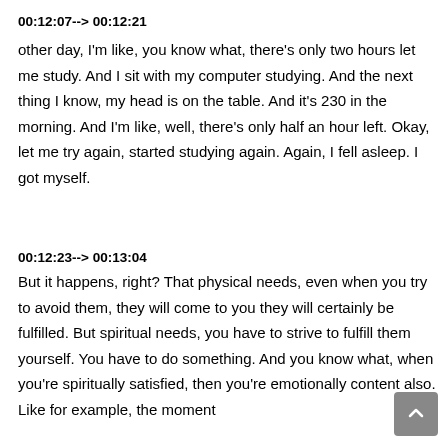00:12:07--> 00:12:21
other day, I'm like, you know what, there's only two hours let me study. And I sit with my computer studying. And the next thing I know, my head is on the table. And it's 230 in the morning. And I'm like, well, there's only half an hour left. Okay, let me try again, started studying again. Again, I fell asleep. I got myself.
00:12:23--> 00:13:04
But it happens, right? That physical needs, even when you try to avoid them, they will come to you they will certainly be fulfilled. But spiritual needs, you have to strive to fulfill them yourself. You have to do something. And you know what, when you're spiritually satisfied, then you're emotionally content also. Like for example, the moment